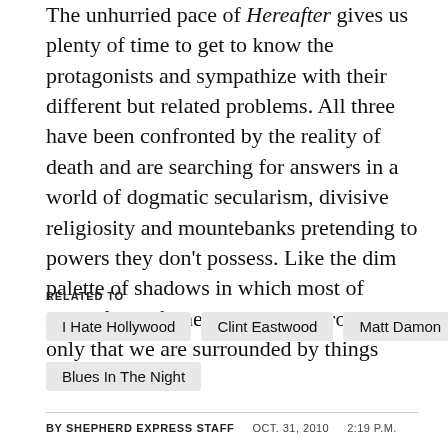The unhurried pace of Hereafter gives us plenty of time to get to know the protagonists and sympathize with their different but related problems. All three have been confronted by the reality of death and are searching for answers in a world of dogmatic secularism, divisive religiosity and mountebanks pretending to powers they don't possess. Like the dim palette of shadows in which most of Hereafter is filmed, Eastwood proposes only that we are surrounded by things unseen.
RELATED TO
I Hate Hollywood
Clint Eastwood
Matt Damon
Blues In The Night
BY SHEPHERD EXPRESS STAFF   OCT. 31, 2010   2:19 P.M.